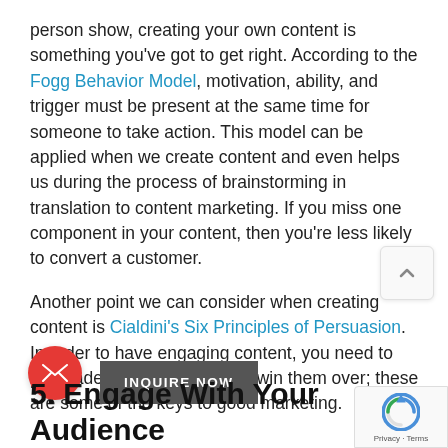person show, creating your own content is something you've got to get right. According to the Fogg Behavior Model, motivation, ability, and trigger must be present at the same time for someone to take action. This model can be applied when we create content and even helps us during the process of brainstorming in translation to content marketing. If you miss one component in your content, then you're less likely to convert a customer.
Another point we can consider when creating content is Cialdini's Six Principles of Persuasion. In order to have engaging content, you need to persuade your audience and win them over; these are some of the keys to good marketing.
5. Engage With Your Audience